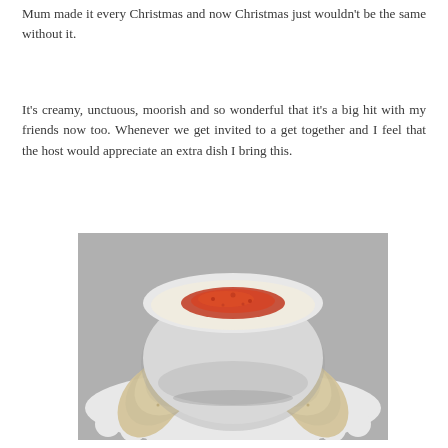Mum made it every Christmas and now Christmas just wouldn't be the same without it.
It's creamy, unctuous, moorish and so wonderful that it's a big hit with my friends now too. Whenever we get invited to a get together and I feel that the host would appreciate an extra dish I bring this.
[Figure (photo): A white ceramic bowl filled with a creamy dip topped with bright red paprika, placed on a white scallop-edged serving platter surrounded by round crackers arranged in a fan pattern. The background is a grey surface.]